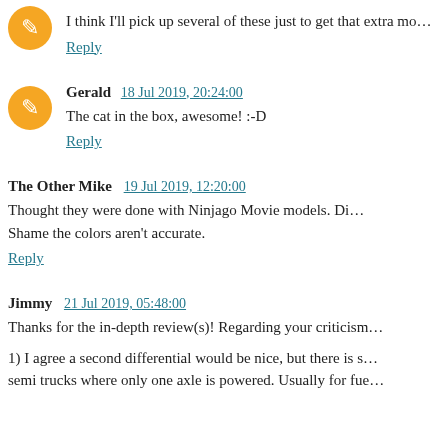I think I'll pick up several of these just to get that extra mo...
Reply
Gerald  18 Jul 2019, 20:24:00
The cat in the box, awesome! :-D
Reply
The Other Mike  19 Jul 2019, 12:20:00
Thought they were done with Ninjago Movie models. Di... Shame the colors aren't accurate.
Reply
Jimmy  21 Jul 2019, 05:48:00
Thanks for the in-depth review(s)! Regarding your criticism...
1) I agree a second differential would be nice, but there is s... semi trucks where only one axle is powered. Usually for fue...